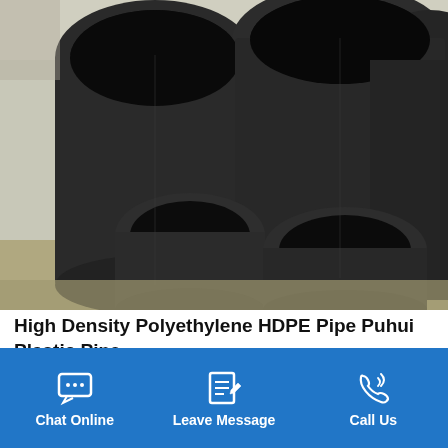[Figure (photo): Large black HDPE pipes stacked outdoors, showing circular cross-sections and cylindrical bodies against a construction site backdrop.]
High Density Polyethylene HDPE Pipe Puhui Plastic Pipe
Hdpe Pipe High Density Polyethylene Pipe is hard, light,
[Figure (infographic): Blue bottom navigation bar with three icons and labels: Chat Online (speech bubble icon), Leave Message (document/edit icon), Call Us (phone icon).]